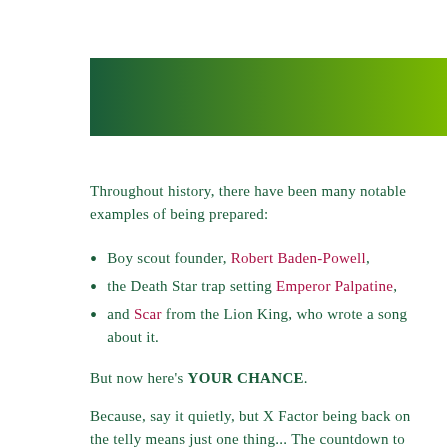[Figure (other): A horizontal gradient bar transitioning from dark green on the left to bright yellow-green on the right.]
Throughout history, there have been many notable examples of being prepared:
Boy scout founder, Robert Baden-Powell,
the Death Star trap setting Emperor Palpatine,
and Scar from the Lion King, who wrote a song about it.
But now here's YOUR CHANCE.
Because, say it quietly, but X Factor being back on the telly means just one thing... The countdown to